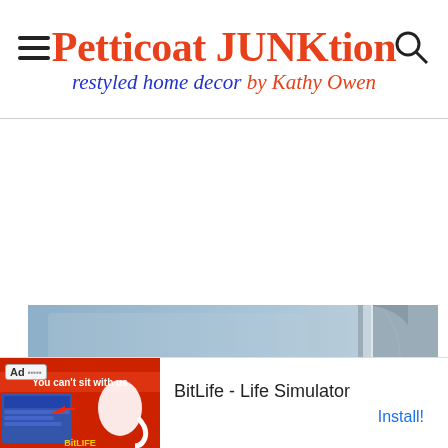Petticoat JUNKtion — restyled home decor by Kathy Owen
[Figure (photo): Close-up photo of a painted metal surface, light blue/grey color, showing edges and slots of what appears to be a vintage appliance or furniture piece being refinished.]
[Figure (screenshot): Ad banner at the bottom showing BitLife - Life Simulator advertisement with red background imagery on the left and text 'BitLife - Life Simulator' with an Install! button on the right.]